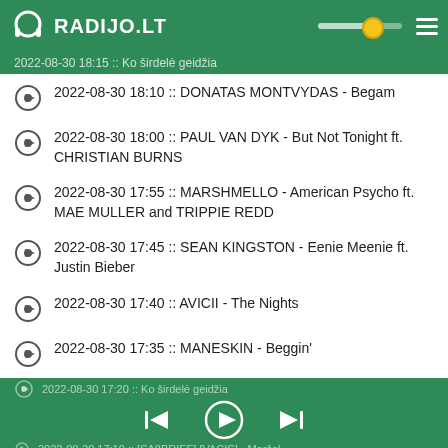RADIJO.LT
2022-08-30 18:15 :: Ko širdelė geidžia
2022-08-30 18:10 :: DONATAS MONTVYDAS - Begam
2022-08-30 18:00 :: PAUL VAN DYK - But Not Tonight ft. CHRISTIAN BURNS
2022-08-30 17:55 :: MARSHMELLO - American Psycho ft. MAE MULLER and TRIPPIE REDD
2022-08-30 17:45 :: SEAN KINGSTON - Eenie Meenie ft. Justin Bieber
2022-08-30 17:40 :: AVICII - The Nights
2022-08-30 17:35 :: MANESKIN - Beggin'
2022-08-30 17:30 :: EIFFEL 65 - Blue (Da Ba Dee)
2022-08-30 17:25 :: TEN WALLS - Walking With Elephants
2022-08-30 17:20 :: Ko širdelė geidžia
2022-08-30 17:10 :: [artist] - Maršal...